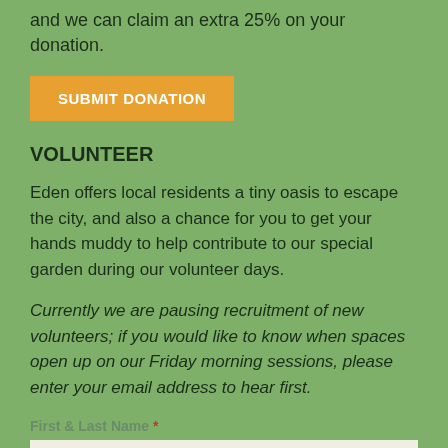and we can claim an extra 25% on your donation.
SUBMIT DONATION
VOLUNTEER
Eden offers local residents a tiny oasis to escape the city, and also a chance for you to get your hands muddy to help contribute to our special garden during our volunteer days.
Currently we are pausing recruitment of new volunteers; if you would like to know when spaces open up on our Friday morning sessions, please enter your email address to hear first.
First & Last Name *